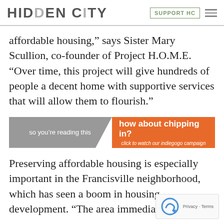HIDDEN CITY | SUPPORT HC
affordable housing,” says Sister Mary Scullion, co-founder of Project H.O.M.E. “Over time, this project will give hundreds of people a decent home with supportive services that will allow them to flourish.”
[Figure (infographic): Promotional banner with two sections: grey left section reading 'so you’re reading this' and orange right section reading 'how about chipping in? click to watch our indiegogo campaign']
Preserving affordable housing is especially important in the Francisville neighborhood, which has seen a boom in housing development. “The area immediately